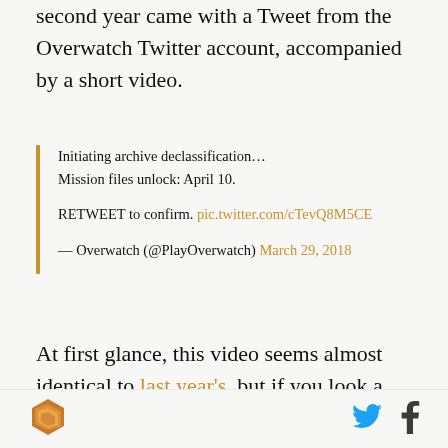second year came with a Tweet from the Overwatch Twitter account, accompanied by a short video.
Initiating archive declassification…
Mission files unlock: April 10.

RETWEET to confirm. pic.twitter.com/cTevQ8M5CE

— Overwatch (@PlayOverwatch) March 29, 2018
At first glance, this video seems almost identical to last year's, but if you look a little closer, you'll see a few big differences. The first is the slight flicker that
[Figure (logo): Layered hexagon logo icon in orange/brown tones]
[Figure (logo): Twitter bird icon in blue]
[Figure (logo): Facebook f icon in dark grey]